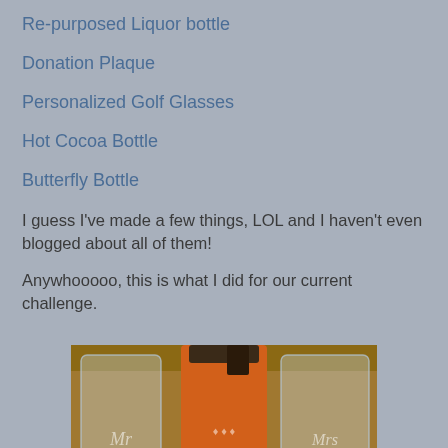Re-purposed Liquor bottle
Donation Plaque
Personalized Golf Glasses
Hot Cocoa Bottle
Butterfly Bottle
I guess I've made a few things, LOL and I haven't even blogged about all of them!
Anywhooooo, this is what I did for our current challenge.
[Figure (photo): Two clear etched champagne flute glasses (one labeled 'Mr', one labeled 'Mrs') flanking an orange bottle with decorative elements, on a wooden surface.]